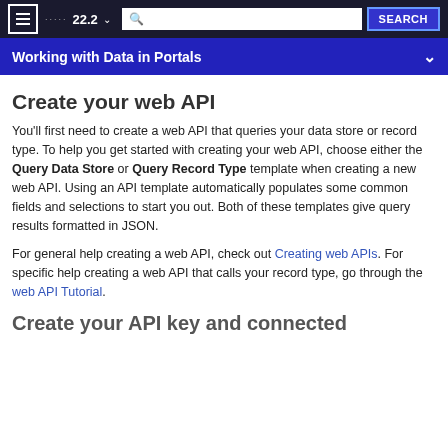22.2  SEARCH
Working with Data in Portals
Create your web API
You'll first need to create a web API that queries your data store or record type. To help you get started with creating your web API, choose either the Query Data Store or Query Record Type template when creating a new web API. Using an API template automatically populates some common fields and selections to start you out. Both of these templates give query results formatted in JSON.
For general help creating a web API, check out Creating web APIs. For specific help creating a web API that calls your record type, go through the web API Tutorial.
Create your API key and connected